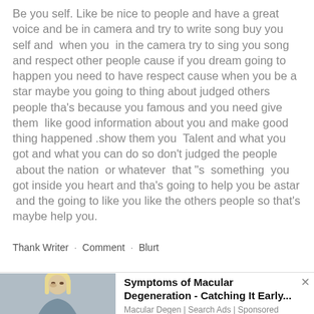Be you self. Like be nice to people and have a great voice and be in camera and try to write song buy you self and  when you  in the camera try to sing you song and respect other people cause if you dream going to happen you need to have respect cause when you be a star maybe you going to thing about judged others people tha's because you famous and you need give them  like good information about you and make good thing happened .show them you  Talent and what you got and what you can do so don't judged the people  about the nation  or whatever  that "s  something  you got inside you heart and tha's going to help you be astar  and the going to like you like the others people so that's maybe help you.
Thank Writer · Comment · Blurt
[Figure (photo): Photo of a blonde woman rubbing her eye, used in an advertisement]
Symptoms of Macular Degeneration - Catching It Early... Macular Degen | Search Ads | Sponsored